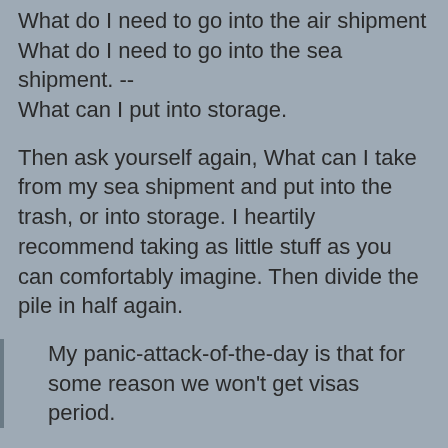What do I need to go into the air shipment What do I need to go into the sea shipment. -- What can I put into storage.
Then ask yourself again, What can I take from my sea shipment and put into the trash, or into storage. I heartily recommend taking as little stuff as you can comfortably imagine. Then divide the pile in half again.
My panic-attack-of-the-day is that for some reason we won't get visas period.
I recognize that panic attack. I have a special place on the Monbijoustrasse bridge just in case that happens for me.
Is that anything I should be concerned about? I'm a total type-A worst-case-scenario kind of girl, so I'm hoping I'm just worrying about nothing.
You know...